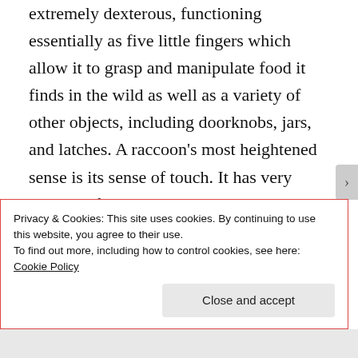extremely dexterous, functioning essentially as five little fingers which allow it to grasp and manipulate food it finds in the wild as well as a variety of other objects, including doorknobs, jars, and latches. A raccoon's most heightened sense is its sense of touch. It has very sensitive front paws and this sensitivity increases
Privacy & Cookies: This site uses cookies. By continuing to use this website, you agree to their use.
To find out more, including how to control cookies, see here: Cookie Policy